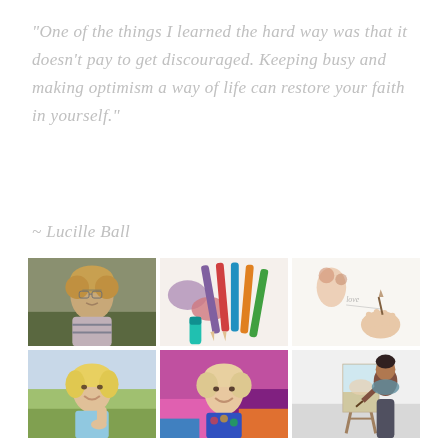“One of the things I learned the hard way was that it doesn’t pay to get discouraged. Keeping busy and making optimism a way of life can restore your faith in yourself.”
~ Lucille Ball
[Figure (photo): A 2x3 grid of six photographs: top row shows a woman with glasses and curly hair smiling outdoors, colorful pencils and pastel swatches on white background, and a hand painting with watercolors; bottom row shows a blonde woman smiling with hand on chin outdoors, a woman smiling in front of a large pink/colorful painting, and a person working at an easel in a bright studio.]